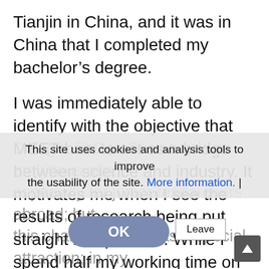Tianjin in China, and it was in China that I completed my bachelor's degree.
I was immediately able to identify with the objective that MEET has: to act as a bridge between science and industry. It motivates me when I see the results of research being put straight into practice. While I spend half my working time on an applications-related project, the other half is spent on my PhD - which is based on the same research projects, but with a stronger scientific alignment.
Doing a PhD in Germany is an ambitious aim, especially for junior researchers abroad; but this challenge also has a special attraction; in my
This site uses cookies and analysis tools to improve the usability of the site. More information. |